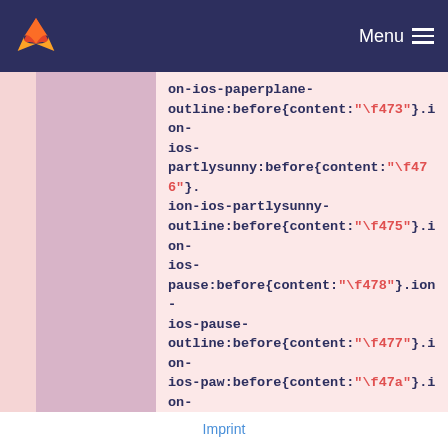Menu
on-ios-paperplane-outline:before{content:"\f473"}.ion-ios-partlysunny:before{content:"\f476"}.ion-ios-partlysunny-outline:before{content:"\f475"}.ion-ios-pause:before{content:"\f478"}.ion-ios-pause-outline:before{content:"\f477"}.ion-ios-paw:before{content:"\f47a"}.ion-ios-paw-outline:before{content:"\f479"}.ion-ios-people:before{content:"\f47c"}.ion-ios-people-outline:before{content:"\f47b"}.ion-ios-person:before{content:"\f47e"}.ion-
Imprint